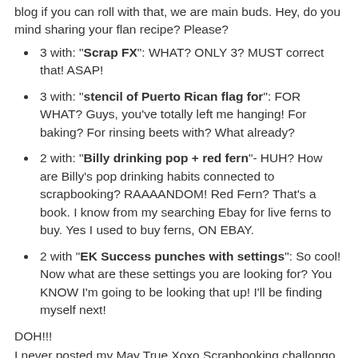blog if you can roll with that, we are main buds. Hey, do you mind sharing your flan recipe? Please?
3 with: "Scrap FX": WHAT? ONLY 3? MUST correct that! ASAP!
3 with: "stencil of Puerto Rican flag for": FOR WHAT? Guys, you've totally left me hanging! For baking? For rinsing beets with? What already?
2 with: "Billy drinking pop + red fern"- HUH? How are Billy's pop drinking habits connected to scrapbooking? RAAAANDOM! Red Fern? That's a book. I know from my searching Ebay for live ferns to buy. Yes I used to buy ferns, ON EBAY.
2 with "EK Success punches with settings": So cool! Now what are these settings you are looking for? You KNOW I'm going to be looking that up! I'll be finding myself next!
DOH!!!
I never posted my May True Xoxo Scrapbooking challenge